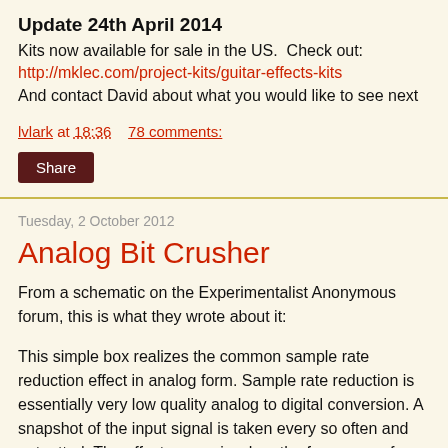Update 24th April 2014
Kits now available for sale in the US.  Check out:
http://mklec.com/project-kits/guitar-effects-kits
And contact David about what you would like to see next
lvlark at 18:36    78 comments:
Share
Tuesday, 2 October 2012
Analog Bit Crusher
From a schematic on the Experimentalist Anonymous forum, this is what they wrote about it:
This simple box realizes the common sample rate reduction effect in analog form. Sample rate reduction is essentially very low quality analog to digital conversion. A snapshot of the input signal is taken every so often and outputted. The effect comes in when the frequency of snapshots is at an audio frequency. The resulting sound is a lot like a ring